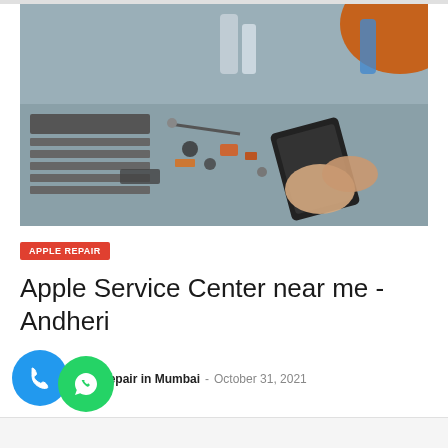[Figure (photo): A person repairing a mobile device on a workbench with tools and phone parts scattered around. The technician is holding a phone screen/display with electronic components visible.]
APPLE REPAIR
Apple Service Center near me - Andheri
Apple Laptop Repair in Mumbai - October 31, 2021